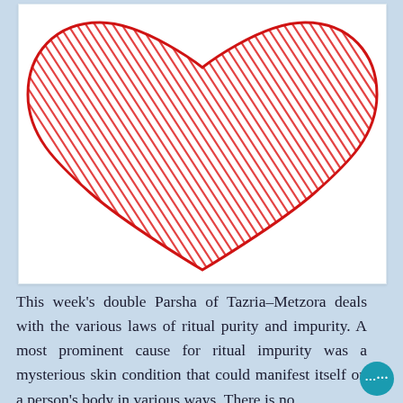[Figure (illustration): A hand-drawn style red scribbled heart illustration on a white background inside a card frame]
This week's double Parsha of Tazria–Metzora deals with the various laws of ritual purity and impurity. A most prominent cause for ritual impurity was a mysterious skin condition that could manifest itself on a person's body in various ways. There is no